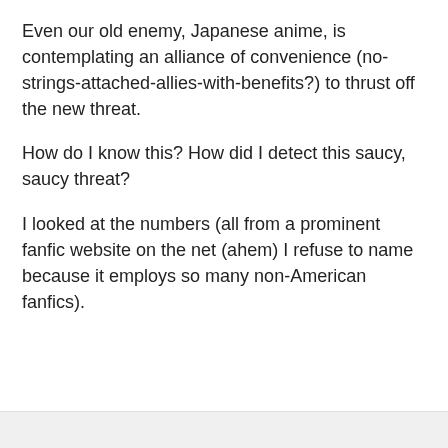Even our old enemy, Japanese anime, is contemplating an alliance of convenience (no-strings-attached-allies-with-benefits?) to thrust off the new threat.
How do I know this? How did I detect this saucy, saucy threat?
I looked at the numbers (all from a prominent fanfic website on the net (ahem) I refuse to name because it employs so many non-American fanfics).
Privacy & Cookies: This site uses cookies. By continuing to use this website, you agree to their use.
To find out more, including how to control cookies, see here: Cookie Policy
Close and accept